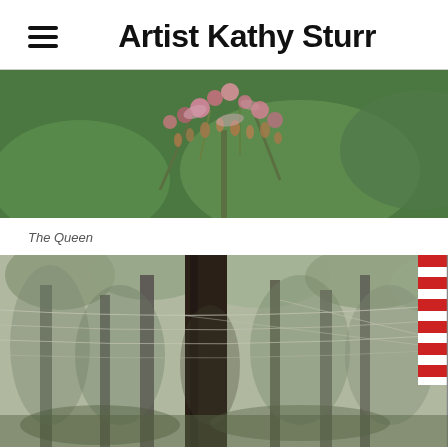Artist Kathy Sturr
[Figure (photo): Close-up photograph of pink and reddish-brown flowering plant buds/blossoms against a green blurred background]
The Queen
[Figure (photo): Outdoor photograph of tall trees and forest with utility wires visible and an American flag on the right edge]